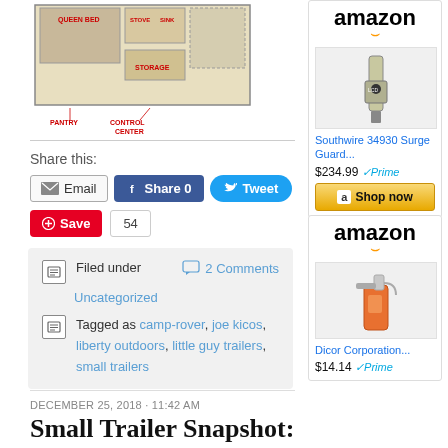[Figure (other): Floor plan diagram of a small trailer showing queen bed, stove, sink, pantry, storage, control center, and optional bunk/storage areas with red labels]
Share this:
Email | Share 0 | Tweet
Save 54
Filed under	2 Comments
Uncategorized
Tagged as camp-rover, joe kicos, liberty outdoors, little guy trailers, small trailers
DECEMBER 25, 2018 · 11:42 AM
Small Trailer Snapshot:
[Figure (other): Amazon advertisement showing Southwire 34930 Surge Guard product, priced at $234.99 with Prime badge and Shop now button]
[Figure (other): Amazon advertisement showing Dicor Corporation spray bottle product, priced at $14.14 with Prime badge]